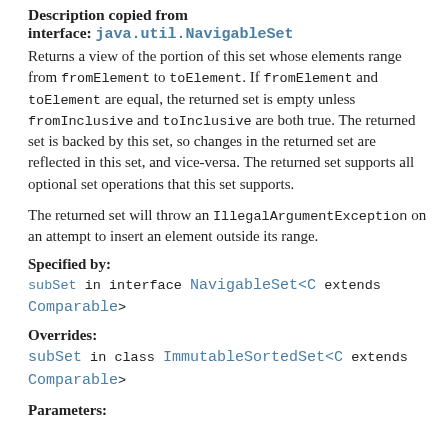Description copied from interface: java.util.NavigableSet
Returns a view of the portion of this set whose elements range from fromElement to toElement. If fromElement and toElement are equal, the returned set is empty unless fromInclusive and toInclusive are both true. The returned set is backed by this set, so changes in the returned set are reflected in this set, and vice-versa. The returned set supports all optional set operations that this set supports.
The returned set will throw an IllegalArgumentException on an attempt to insert an element outside its range.
Specified by:
subSet in interface NavigableSet<C extends Comparable>
Overrides:
subSet in class ImmutableSortedSet<C extends Comparable>
Parameters: